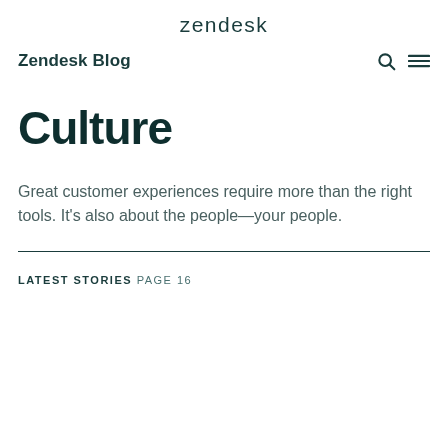zendesk
Zendesk Blog
Culture
Great customer experiences require more than the right tools. It's also about the people—your people.
LATEST STORIES PAGE 16